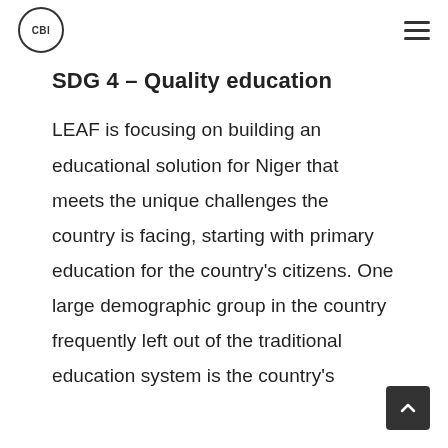CBI
SDG 4 – Quality education
LEAF is focusing on building an educational solution for Niger that meets the unique challenges the country is facing, starting with primary education for the country's citizens. One large demographic group in the country frequently left out of the traditional education system is the country's